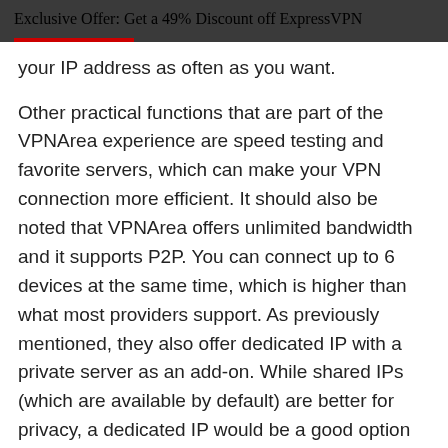Exclusive Offer: Get a 49% Discount off ExpressVPN
your IP address as often as you want.
Other practical functions that are part of the VPNArea experience are speed testing and favorite servers, which can make your VPN connection more efficient. It should also be noted that VPNArea offers unlimited bandwidth and it supports P2P. You can connect up to 6 devices at the same time, which is higher than what most providers support. As previously mentioned, they also offer dedicated IP with a private server as an add-on. While shared IPs (which are available by default) are better for privacy, a dedicated IP would be a good option for those who have advanced technical needs like running a private mail or gaming server.